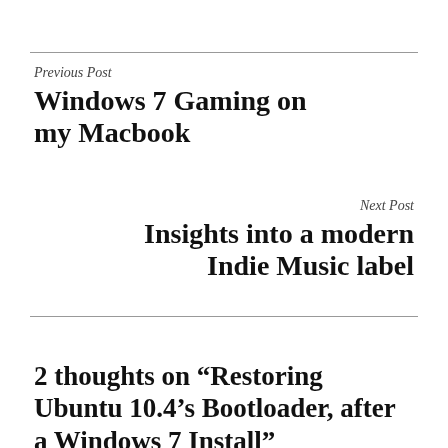Previous Post
Windows 7 Gaming on my Macbook
Next Post
Insights into a modern Indie Music label
2 thoughts on “Restoring Ubuntu 10.4’s Bootloader, after a Windows 7 Install”